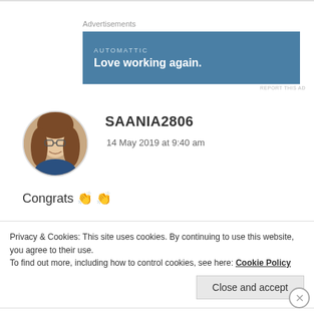[Figure (other): Advertisement banner with blue background. Text: AUTOMATTIC / Love working again.]
Advertisements
REPORT THIS AD
[Figure (photo): Circular profile photo of a young woman with long hair and glasses, smiling.]
SAANIA2806
14 May 2019 at 9:40 am
Congrats 👏👏
★ Liked by 2 people
Privacy & Cookies: This site uses cookies. By continuing to use this website, you agree to their use. To find out more, including how to control cookies, see here: Cookie Policy
Close and accept